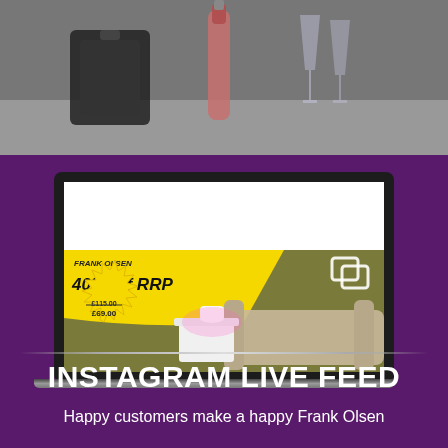[Figure (photo): Lifestyle photo showing champagne bottle and glasses on a dark background surface, partial view]
[Figure (screenshot): Laptop screen showing a furniture advertisement with '40% off RRP', original price £115.00 and sale price £69.00, on an olive/green background with a sofa and side table]
INSTAGRAM LIVE FEED
Happy customers make a happy Frank Olsen